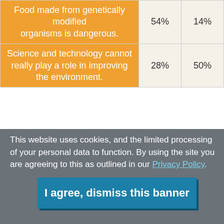| Statement | Col1 | Col2 |
| --- | --- | --- |
| Food made from genetically modified organisms is dangerous. | 54% | 14% |
| Science and technology cannot really play a role in improving the environment. | 28% | 50% |
These questions show some of the widest differences between attitudes across Europe. Cypriots (88%) and Greeks (80%) are most worried about genetically modified foods, whereas there is much less concern in the United Kingdom
This website uses cookies, and the limited processing of your personal data to function. By using the site you are agreeing to this as outlined in our Privacy Policy.
I agree, dismiss this banner